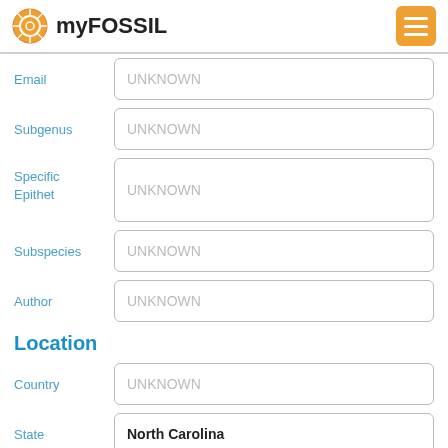myFOSSIL
Email: UNKNOWN
Subgenus: UNKNOWN
Specific Epithet: UNKNOWN
Subspecies: UNKNOWN
Author: UNKNOWN
Location
Country: UNKNOWN
State: North Carolina
UNKNOWN